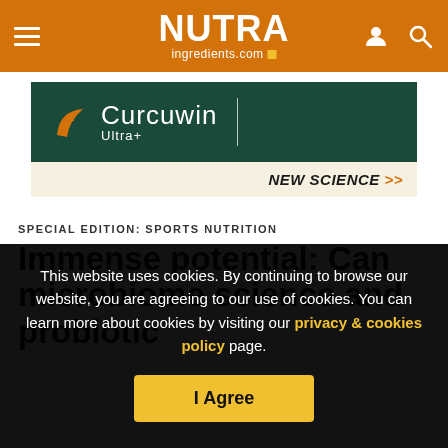NUTRA ingredients.com
[Figure (logo): Curcuwin Ultra+ advertisement banner with dark green background and NEW SCIENCE >> tagline]
SPECIAL EDITION: SPORTS NUTRITION
Immense potential: Can microbiome science and probiotic
This website uses cookies. By continuing to browse our website, you are agreeing to our use of cookies. You can learn more about cookies by visiting our privacy & cookies policy page.
I Agree